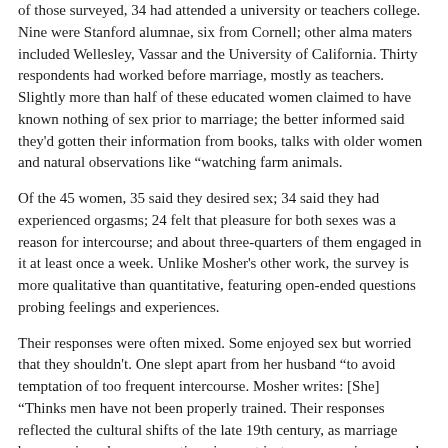of those surveyed, 34 had attended a university or teachers college. Nine were Stanford alumnae, six from Cornell; other alma maters included Wellesley, Vassar and the University of California. Thirty respondents had worked before marriage, mostly as teachers. Slightly more than half of these educated women claimed to have known nothing of sex prior to marriage; the better informed said they'd gotten their information from books, talks with older women and natural observations like "watching farm animals.
Of the 45 women, 35 said they desired sex; 34 said they had experienced orgasms; 24 felt that pleasure for both sexes was a reason for intercourse; and about three-quarters of them engaged in it at least once a week. Unlike Mosher's other work, the survey is more qualitative than quantitative, featuring open-ended questions probing feelings and experiences.
Their responses were often mixed. Some enjoyed sex but worried that they shouldn't. One slept apart from her husband "to avoid temptation of too frequent intercourse. Mosher writes: [She] "Thinks men have not been properly trained. Their responses reflected the cultural shifts of the late 19th century, as marriage became viewed as a romantic union, not just an economic one, and as people began to dissociate sex from procreation, says Freedman.
Anxieties about unwanted pregnancies are also clear.